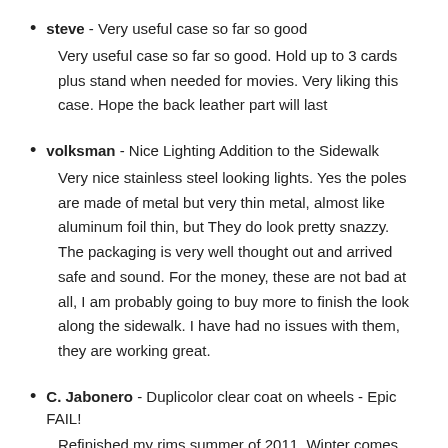steve - Very useful case so far so good
Very useful case so far so good. Hold up to 3 cards plus stand when needed for movies. Very liking this case. Hope the back leather part will last
volksman - Nice Lighting Addition to the Sidewalk
Very nice stainless steel looking lights. Yes the poles are made of metal but very thin metal, almost like aluminum foil thin, but They do look pretty snazzy. The packaging is very well thought out and arrived safe and sound. For the money, these are not bad at all, I am probably going to buy more to finish the look along the sidewalk. I have had no issues with them, they are working great.
C. Jabonero - Duplicolor clear coat on wheels - Epic FAIL!
Refinished my rims summer of 2011. Winter comes and